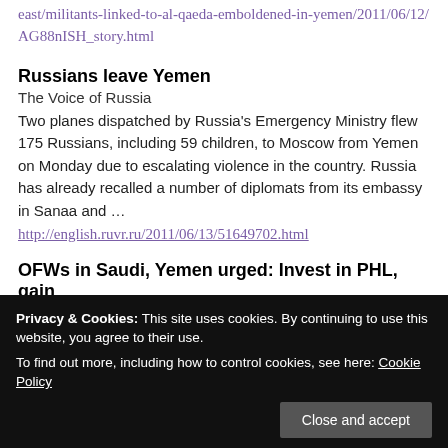east/militants-linked-to-al-qaeda-emboldened-in-yemen/2011/06/12/AG88nISH_story.html
Russians leave Yemen
The Voice of Russia
Two planes dispatched by Russia's Emergency Ministry flew 175 Russians, including 59 children, to Moscow from Yemen on Monday due to escalating violence in the country. Russia has already recalled a number of diplomats from its embassy in Sanaa and …
http://english.ruvr.ru/2011/06/13/51649702.html
OFWs in Saudi, Yemen urged: Invest in PHL, gain
Privacy & Cookies: This site uses cookies. By continuing to use this website, you agree to their use.
To find out more, including how to control cookies, see here: Cookie Policy
attain "economic independence" by investing in the